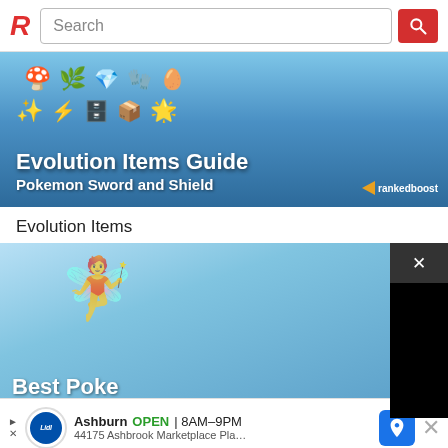Search
[Figure (screenshot): Evolution Items Guide Pokemon Sword and Shield hero banner with game items icons and rankedboost logo]
Evolution Items
[Figure (screenshot): Best Pokemon image partially obscured by a black popup overlay with X close button]
[Figure (screenshot): Advertisement bar: Ashburn OPEN 8AM-9PM, 44175 Ashbrook Marketplace Pla... with Lidl logo and map icon]